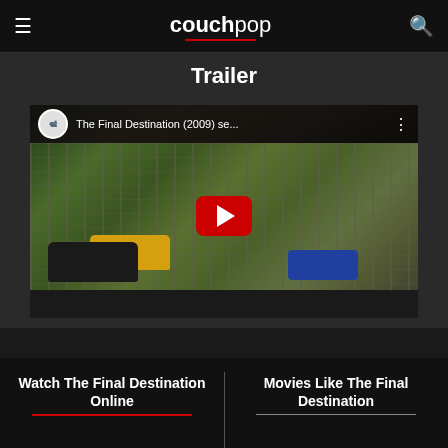couchpop
Trailer
[Figure (screenshot): YouTube video thumbnail for 'The Final Destination (2009) se...' showing race cars on a track with a red YouTube play button overlay]
Watch The Final Destination Online
Movies Like The Final Destination